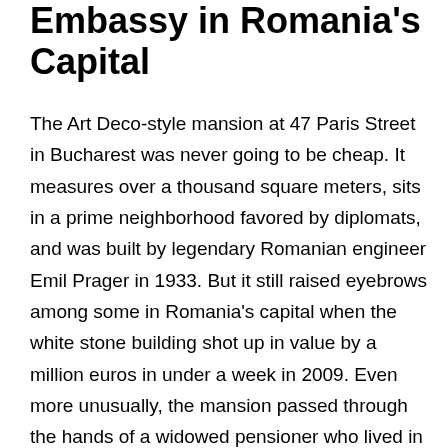Embassy in Romania's Capital
The Art Deco-style mansion at 47 Paris Street in Bucharest was never going to be cheap. It measures over a thousand square meters, sits in a prime neighborhood favored by diplomats, and was built by legendary Romanian engineer Emil Prager in 1933. But it still raised eyebrows among some in Romania's capital when the white stone building shot up in value by a million euros in under a week in 2009. Even more unusually, the mansion passed through the hands of a widowed pensioner who lived in a Communist-era public housing block in southwest Bucharest. Leana Pielmus, then 58, bought it on September 10 for 3.5 million euros (the equivalent of US$5 million). The average pension in Romania at the time was 162 euros per month. Pielmus sold it a week